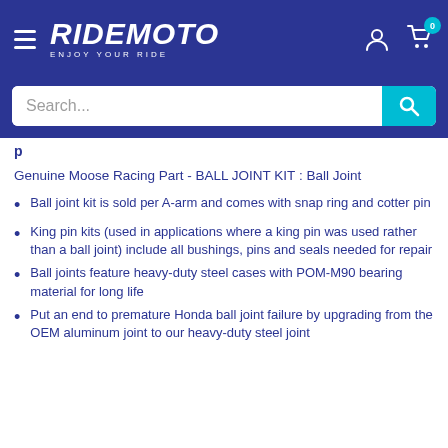RIDEMOTO ENJOY YOUR RIDE
[Figure (screenshot): Search bar with cyan search button and magnifying glass icon]
Genuine Moose Racing Part - BALL JOINT KIT : Ball Joint
Ball joint kit is sold per A-arm and comes with snap ring and cotter pin
King pin kits (used in applications where a king pin was used rather than a ball joint) include all bushings, pins and seals needed for repair
Ball joints feature heavy-duty steel cases with POM-M90 bearing material for long life
Put an end to premature Honda ball joint failure by upgrading from the OEM aluminum joint to our heavy-duty steel joint